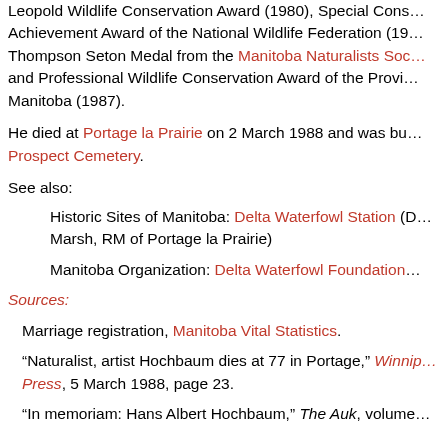Leopold Wildlife Conservation Award (1980), Special Conservation Achievement Award of the National Wildlife Federation (19...), Thompson Seton Medal from the Manitoba Naturalists Society, and Professional Wildlife Conservation Award of the Province of Manitoba (1987).
He died at Portage la Prairie on 2 March 1988 and was buried at Prospect Cemetery.
See also:
Historic Sites of Manitoba: Delta Waterfowl Station (D... Marsh, RM of Portage la Prairie)
Manitoba Organization: Delta Waterfowl Foundation
Sources:
Marriage registration, Manitoba Vital Statistics.
"Naturalist, artist Hochbaum dies at 77 in Portage," Winnipeg Free Press, 5 March 1988, page 23.
"In memoriam: Hans Albert Hochbaum," The Auk, volume ...